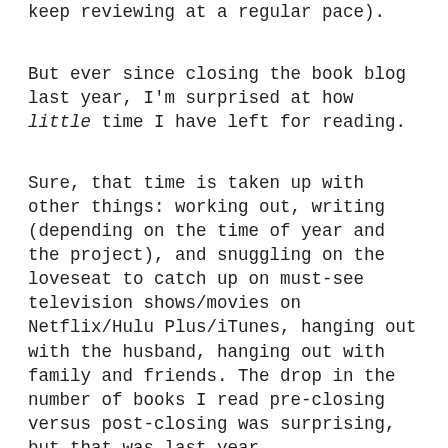keep reviewing at a regular pace).
But ever since closing the book blog last year, I'm surprised at how little time I have left for reading.
Sure, that time is taken up with other things: working out, writing (depending on the time of year and the project), and snuggling on the loveseat to catch up on must-see television shows/movies on Netflix/Hulu Plus/iTunes, hanging out with the husband, hanging out with family and friends. The drop in the number of books I read pre-closing versus post-closing was surprising, but that was last year.
This year, the drop is staggering. I went from reading 3-4 books per week during my reviewing days to 1-2